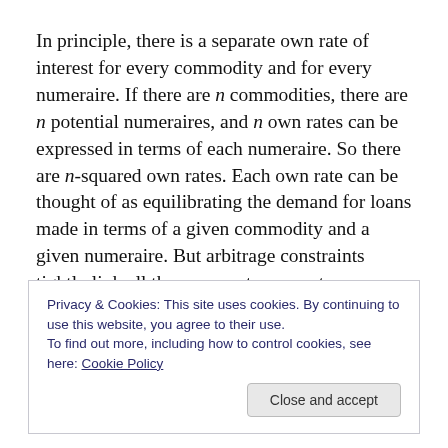In principle, there is a separate own rate of interest for every commodity and for every numeraire. If there are n commodities, there are n potential numeraires, and n own rates can be expressed in terms of each numeraire. So there are n-squared own rates. Each own rate can be thought of as equilibrating the demand for loans made in terms of a given commodity and a given numeraire. But arbitrage constraints tightly link all these separate own rates together. If it were cheaper to borrow in terms of one
Privacy & Cookies: This site uses cookies. By continuing to use this website, you agree to their use. To find out more, including how to control cookies, see here: Cookie Policy
in terms of one numeraire, than another, lenders would